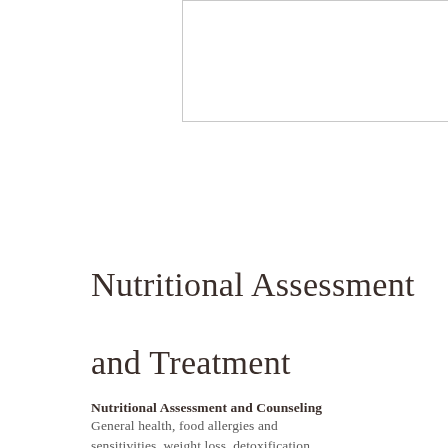[Figure (photo): White rectangular image placeholder box with light gray border, no content visible]
Nutritional Assessment and Treatment
Nutritional Assessment and Counseling
General health, food allergies and sensitivities, weight loss, detoxification